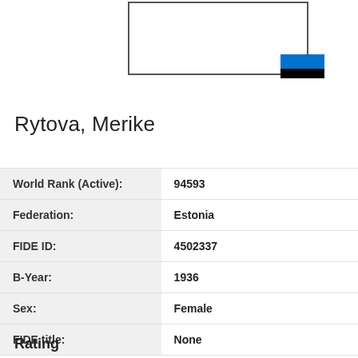[Figure (other): Photo placeholder box with Estonia flag colors (blue and black stripes) in bottom-right corner]
Rytova, Merike
| World Rank (Active): | 94593 |
| Federation: | Estonia |
| FIDE ID: | 4502337 |
| B-Year: | 1936 |
| Sex: | Female |
| FIDE title: | None |
Rating